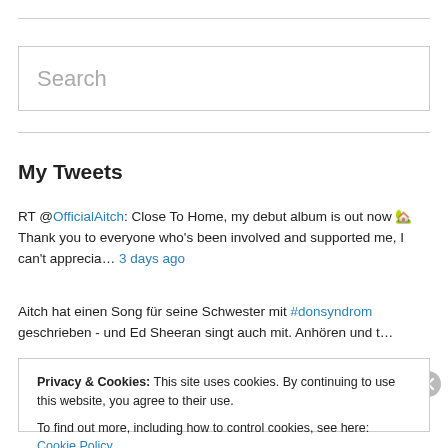[Figure (screenshot): Search input box with placeholder text 'Search']
My Tweets
RT @OfficialAitch: Close To Home, my debut album is out now 🏡 Thank you to everyone who's been involved and supported me, I can't apprecia… 3 days ago
Aitch hat einen Song für seine Schwester mit #donsyndrom geschrieben - und Ed Sheeran singt auch mit. Anhören und t…
Privacy & Cookies: This site uses cookies. By continuing to use this website, you agree to their use. To find out more, including how to control cookies, see here: Cookie Policy
Close and accept